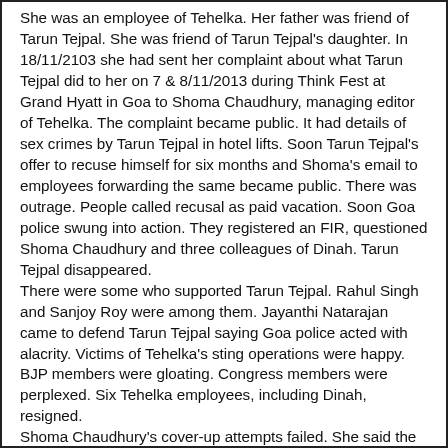She was an employee of Tehelka. Her father was friend of Tarun Tejpal. She was friend of Tarun Tejpal's daughter. In 18/11/2103 she had sent her complaint about what Tarun Tejpal did to her on 7 & 8/11/2013 during Think Fest at Grand Hyatt in Goa to Shoma Chaudhury, managing editor of Tehelka. The complaint became public. It had details of sex crimes by Tarun Tejpal in hotel lifts. Soon Tarun Tejpal's offer to recuse himself for six months and Shoma's email to employees forwarding the same became public. There was outrage. People called recusal as paid vacation. Soon Goa police swung into action. They registered an FIR, questioned Shoma Chaudhury and three colleagues of Dinah. Tarun Tejpal disappeared.
There were some who supported Tarun Tejpal. Rahul Singh and Sanjoy Roy were among them. Jayanthi Natarajan came to defend Tarun Tejpal saying Goa police acted with alacrity. Victims of Tehelka's sting operations were happy. BJP members were gloating. Congress members were perplexed. Six Tehelka employees, including Dinah, resigned.
Shoma Chaudhury's cover-up attempts failed. She said the victim was satisfied. That was contradicted. She asked one